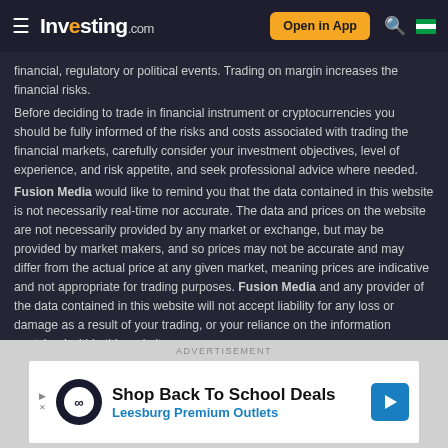Investing.com — Open in App
financial, regulatory or political events. Trading on margin increases the financial risks.
Before deciding to trade in financial instrument or cryptocurrencies you should be fully informed of the risks and costs associated with trading the financial markets, carefully consider your investment objectives, level of experience, and risk appetite, and seek professional advice where needed.
Fusion Media would like to remind you that the data contained in this website is not necessarily real-time nor accurate. The data and prices on the website are not necessarily provided by any market or exchange, but may be provided by market makers, and so prices may not be accurate and may differ from the actual price at any given market, meaning prices are indicative and not appropriate for trading purposes. Fusion Media and any provider of the data contained in this website will not accept liability for any loss or damage as a result of your trading, or your reliance on the information contained within this website.
It is prohibited to use, store, reproduce, display, modify, transmit or distribute the data contained in this website without the explicit prior written permission of Fusion Media and/or the data provider. All intellectual property rights are reserved by the providers and/or the exchange providing the data contained in this website.
ADVERTISEMENT
[Figure (other): Advertisement banner for Leesburg Premium Outlets: Shop Back To School Deals]